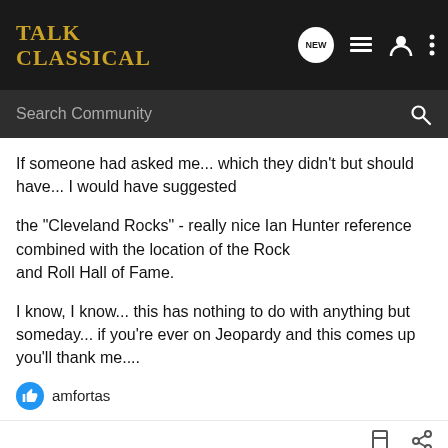Talk Classical
Search Community
If someone had asked me... which they didn't but should have... I would have suggested

the "Cleveland Rocks" - really nice Ian Hunter reference combined with the location of the Rock and Roll Hall of Fame.

I know, I know... this has nothing to do with anything but someday... if you're ever on Jeopardy and this comes up you'll thank me....
amfortas
Hook148 · Registered 🇺🇸